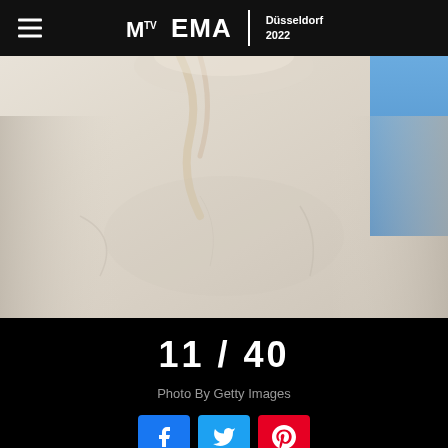MTV EMA | Düsseldorf 2022
[Figure (photo): Close-up photo of a person wearing a white/cream oversized garment, cropped to show torso and partial hair, blue background visible in top right corner. MTV EMA 2022 event photo.]
11 / 40
Photo By Getty Images